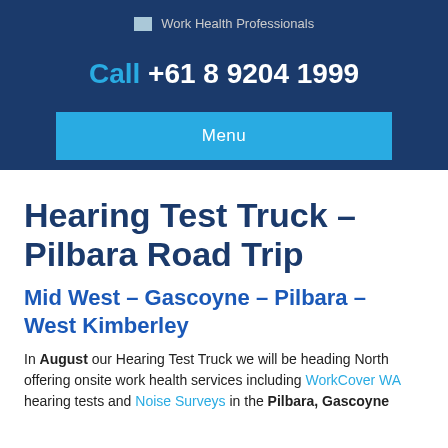Work Health Professionals
Call +61 8 9204 1999
Menu
Hearing Test Truck – Pilbara Road Trip
Mid West – Gascoyne – Pilbara – West Kimberley
In August our Hearing Test Truck we will be heading North offering onsite work health services including WorkCover WA hearing tests and Noise Surveys in the Pilbara, Gascoyne...